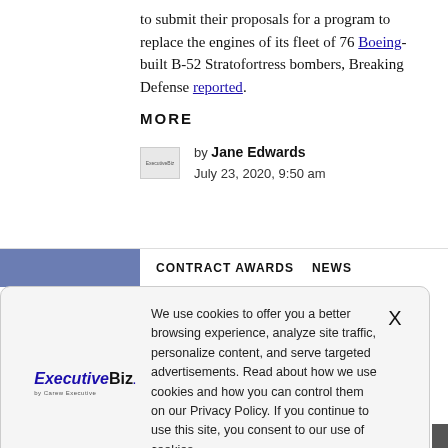to submit their proposals for a program to replace the engines of its fleet of 76 Boeing-built B-52 Stratofortress bombers, Breaking Defense reported.
MORE
by Jane Edwards
July 23, 2020, 9:50 am
CONTRACT AWARDS   NEWS
We use cookies to offer you a better browsing experience, analyze site traffic, personalize content, and serve targeted advertisements. Read about how we use cookies and how you can control them on our Privacy Policy. If you continue to use this site, you consent to our use of cookies.
contracts to Rolls-Royce and aerospace technology manufacturer Astronics to